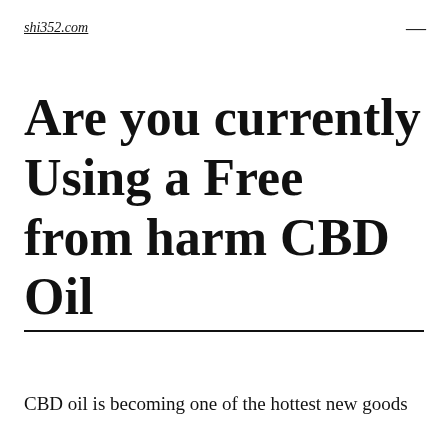shi352.com
Are you currently Using a Free from harm CBD Oil
CBD oil is becoming one of the hottest new goods on the market, and a lot of customers are